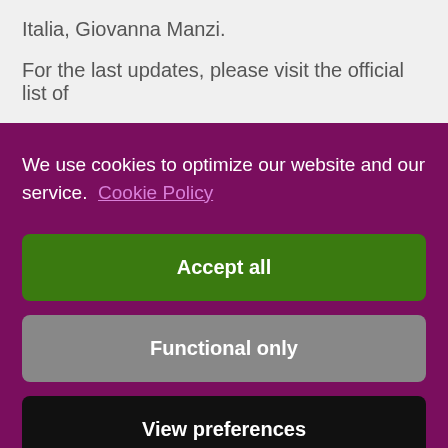Italia, Giovanna Manzi.
For the last updates, please visit the official list of
We use cookies to optimize our website and our service.  Cookie Policy
Accept all
Functional only
View preferences
the hottest topics on Tech &